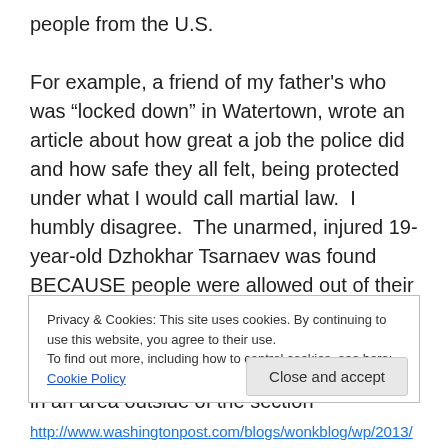people from the U.S.

For example, a friend of my father's who was “locked down” in Watertown, wrote an article about how great a job the police did and how safe they all felt, being protected under what I would call martial law.  I humbly disagree.  The unarmed, injured 19-year-old Dzhokhar Tsarnaev was found BECAUSE people were allowed out of their homes and into their streets.  He would not have been spotted had this man not been allowed to check out his boat.  And this was in an area outside of the section
Privacy & Cookies: This site uses cookies. By continuing to use this website, you agree to their use.
To find out more, including how to control cookies, see here: Cookie Policy
Close and accept
http://www.washingtonpost.com/blogs/wonkblog/wp/2013/